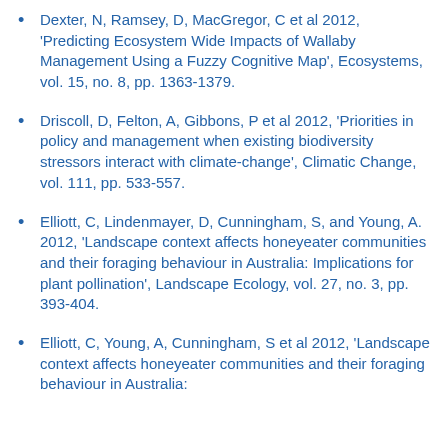Dexter, N, Ramsey, D, MacGregor, C et al 2012, 'Predicting Ecosystem Wide Impacts of Wallaby Management Using a Fuzzy Cognitive Map', Ecosystems, vol. 15, no. 8, pp. 1363-1379.
Driscoll, D, Felton, A, Gibbons, P et al 2012, 'Priorities in policy and management when existing biodiversity stressors interact with climate-change', Climatic Change, vol. 111, pp. 533-557.
Elliott, C, Lindenmayer, D, Cunningham, S, and Young, A. 2012, 'Landscape context affects honeyeater communities and their foraging behaviour in Australia: Implications for plant pollination', Landscape Ecology, vol. 27, no. 3, pp. 393-404.
Elliott, C, Young, A, Cunningham, S et al 2012, 'Landscape context affects honeyeater communities and their foraging behaviour in Australia: